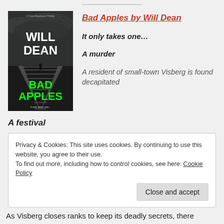[Figure (illustration): Book cover of 'Bad Apples' by Will Dean. Dark moody image with railway tracks receding into fog. Large white text 'WILL DEAN' at top, green neon text 'BAD APPLES' at bottom. Subtitle 'A Tuva Moodyson Thriller' at top and tagline 'It only takes one...' at bottom.]
Bad Apples by Will Dean
It only takes one…
A murder
A resident of small-town Visberg is found decapitated
A festival
Privacy & Cookies: This site uses cookies. By continuing to use this website, you agree to their use.
To find out more, including how to control cookies, see here: Cookie Policy
As Visberg closes ranks to keep its deadly secrets, there